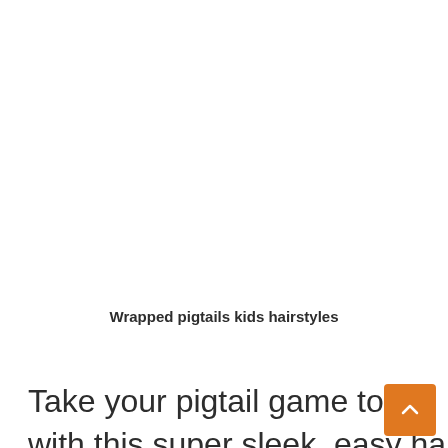[Figure (photo): Large white/blank image area at top of page — photo of wrapped pigtails kids hairstyle (image not rendered)]
Wrapped pigtails kids hairstyles
Take your pigtail game to the next level with this super sleek, easy hairstyle for